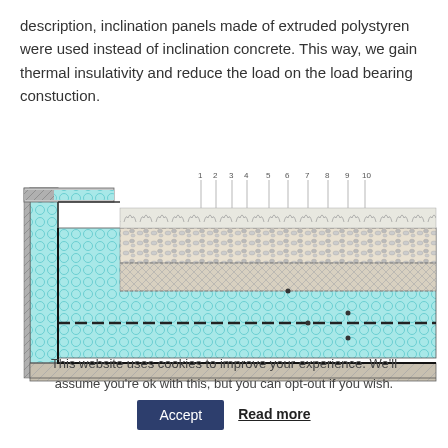description, inclination panels made of extruded polystyren were used instead of inclination concrete. This way, we gain thermal insulativity and reduce the load on the load bearing constuction.
[Figure (engineering-diagram): Cross-section engineering diagram of a flat/inverted roof construction showing numbered layers (1-10) including vegetation layer, drainage/gravel layer, waterproofing membrane (dashed line), insulation panels (cyan honeycomb pattern), and structural slab with a drainage edge detail on the left side.]
This website uses cookies to improve your experience. We'll assume you're ok with this, but you can opt-out if you wish.